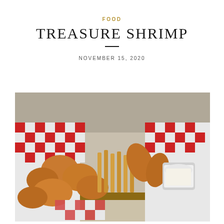FOOD
TREASURE SHRIMP
NOVEMBER 15, 2020
[Figure (photo): A basket of fried shrimp and french fries served in red and white checkered paper, with a small cup of white dipping sauce, photographed outdoors in bright sunlight.]